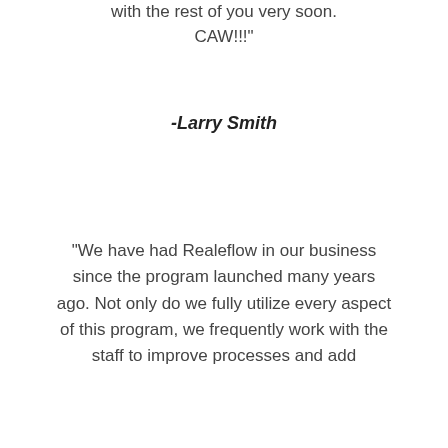with the rest of you very soon. CAW!!!"
-Larry Smith
“We have had Realeflow in our business since the program launched many years ago. Not only do we fully utilize every aspect of this program, we frequently work with the staff to improve processes and add